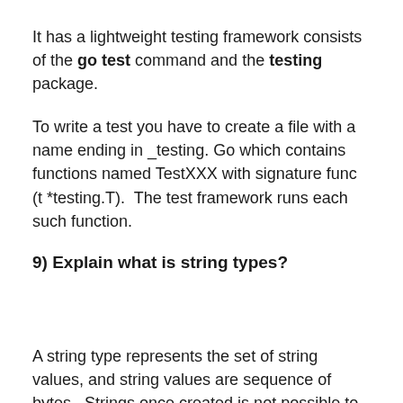It has a lightweight testing framework consists of the go test command and the testing package.
To write a test you have to create a file with a name ending in _testing. Go which contains functions named TestXXX with signature func (t *testing.T).  The test framework runs each such function.
9) Explain what is string types?
A string type represents the set of string values, and string values are sequence of bytes.  Strings once created is not possible to change.